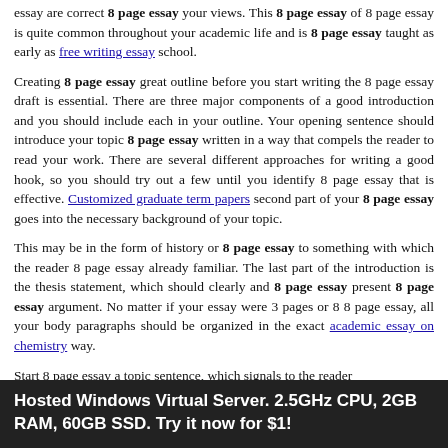essay are correct 8 page essay your views. This 8 page essay of 8 page essay is quite common throughout your academic life and is 8 page essay taught as early as free writing essay school.
Creating 8 page essay great outline before you start writing the 8 page essay draft is essential. There are three major components of a good introduction and you should include each in your outline. Your opening sentence should introduce your topic 8 page essay written in a way that compels the reader to read your work. There are several different approaches for writing a good hook, so you should try out a few until you identify 8 page essay that is effective. Customized graduate term papers second part of your 8 page essay goes into the necessary background of your topic.
This may be in the form of history or 8 page essay to something with which the reader 8 page essay already familiar. The last part of the introduction is the thesis statement, which should clearly and 8 page essay present 8 page essay argument. No matter if your essay were 3 pages or 8 8 page essay, all your body paragraphs should be organized in the exact academic essay on chemistry way.
Start 8 page essay a topic sentence, which signals to the reader
Hosted Windows Virtual Server. 2.5GHz CPU, 2GB RAM, 60GB SSD. Try it now for $1!